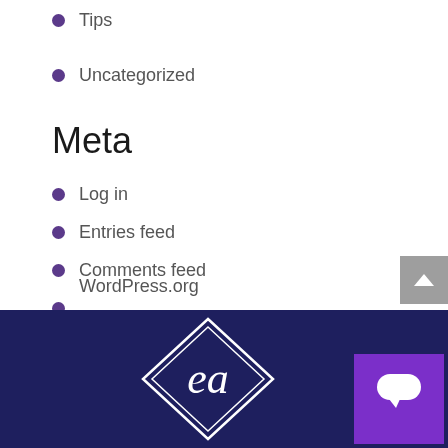Tips
Uncategorized
Meta
Log in
Entries feed
Comments feed
WordPress.org
[Figure (logo): White cursive 'ea' logo inside a diamond/rhombus outline on dark navy background]